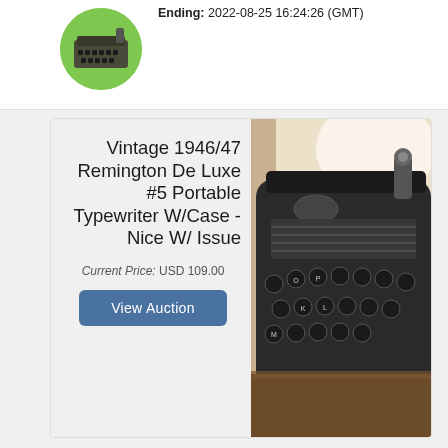[Figure (photo): Circular thumbnail image of a vintage typewriter on a green background]
Ending: 2022-08-25 16:24:26 (GMT)
[Figure (photo): Close-up photograph of a vintage Remington De Luxe portable typewriter showing the keyboard and platen]
Vintage 1946/47 Remington De Luxe #5 Portable Typewriter W/Case -Nice W/ Issue
Current Price: USD 109.00
View Auction